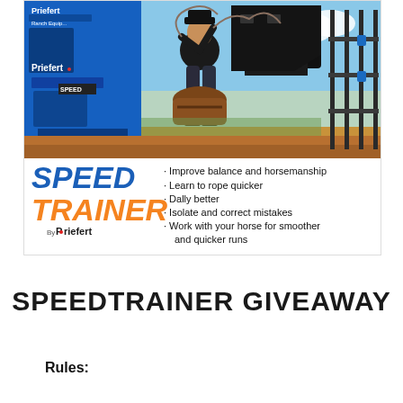[Figure (photo): Advertisement image showing a cowboy on a horse using a Priefert Speed Trainer roping device. Blue Priefert equipment is visible on the left side. Below the photo is the Speed Trainer logo with bullet points listing product benefits.]
SPEEDTRAINER GIVEAWAY
Rules: